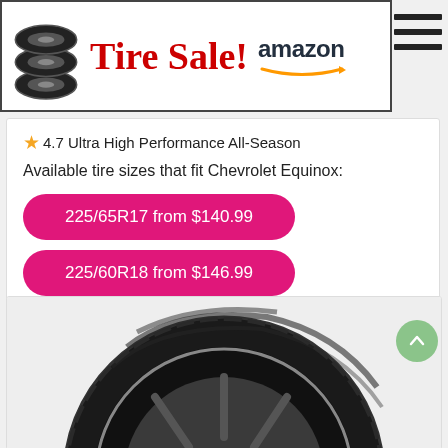[Figure (logo): Tire Sale! Amazon banner with tire stack icon and Amazon smile logo]
★4.7 Ultra High Performance All-Season
Available tire sizes that fit Chevrolet Equinox:
225/65R17 from $140.99
225/60R18 from $146.99
[Figure (photo): Close-up photo of a high-performance tire with dark alloy wheel on grey background]